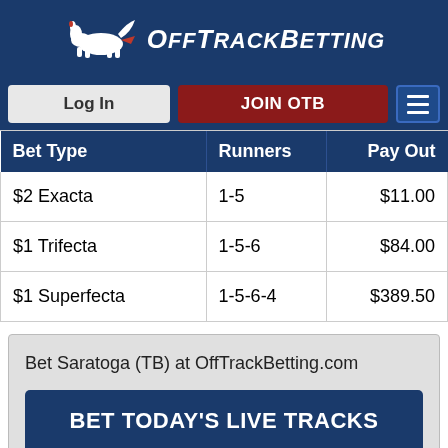OffTrackBetting
Log In | JOIN OTB
| Bet Type | Runners | Pay Out |
| --- | --- | --- |
| $2 Exacta | 1-5 | $11.00 |
| $1 Trifecta | 1-5-6 | $84.00 |
| $1 Superfecta | 1-5-6-4 | $389.50 |
Bet Saratoga (TB) at OffTrackBetting.com
BET TODAY'S LIVE TRACKS